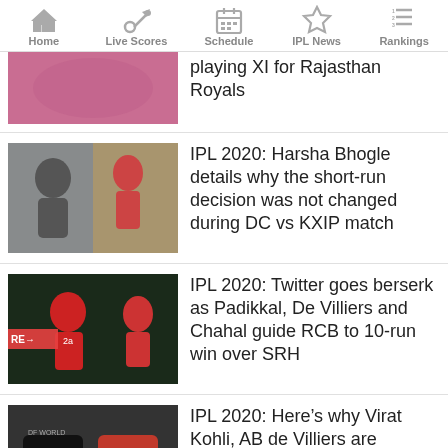Home | Live Scores | Schedule | IPL News | Rankings
playing XI for Rajasthan Royals
IPL 2020: Harsha Bhogle details why the short-run decision was not changed during DC vs KXIP match
IPL 2020: Twitter goes berserk as Padikkal, De Villiers and Chahal guide RCB to 10-run win over SRH
IPL 2020: Here’s why Virat Kohli, AB de Villiers are sporting RCB jerseys with names of Simranjeet & Paritosh
IPL 2020: ‘Could cost us a playoff berth’ – KXIP appeals to the match referee